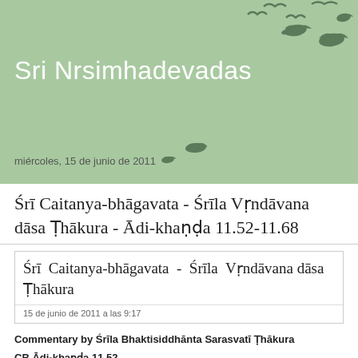Sri Nrsimhadevadas
miércoles, 15 de junio de 2011
Śrī Caitanya-bhāgavata - Śrīla Vṛndāvana dāsa Ṭhākura - Ādi-khaṇḍa 11.52-11.68
Śrī Caitanya-bhāgavata - Śrīla Vṛndāvana dāsa Ṭhākura
15 de junio de 2011 a las 9:17
Commentary by Śrīla Bhaktisiddhānta Sarasvatī Ṭhākura
CB Ādi-khaṇḍa 11.52
hena mate bhakta-gaṇa nadīyāya vaise
sakala nadīyā matta dhana-putra-rase